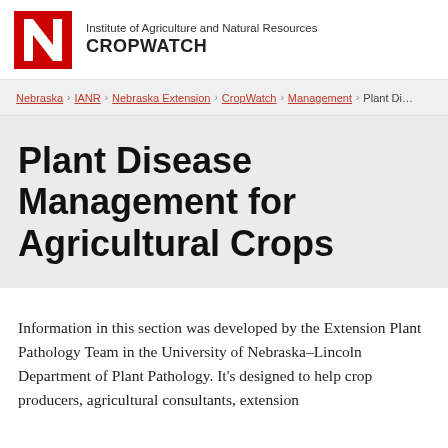Institute of Agriculture and Natural Resources CROPWATCH
Nebraska › IANR › Nebraska Extension › CropWatch › Management › Plant Di…
Plant Disease Management for Agricultural Crops
Information in this section was developed by the Extension Plant Pathology Team in the University of Nebraska–Lincoln Department of Plant Pathology. It's designed to help crop producers, agricultural consultants, extension